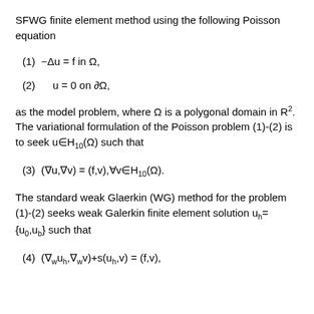SFWG finite element method using the following Poisson equation
as the model problem, where Ω is a polygonal domain in R². The variational formulation of the Poisson problem (1)-(2) is to seek u∈H₁₀(Ω) such that
The standard weak Glaerkin (WG) method for the problem (1)-(2) seeks weak Galerkin finite element solution uₕ = {u₀,uᵦ} such that